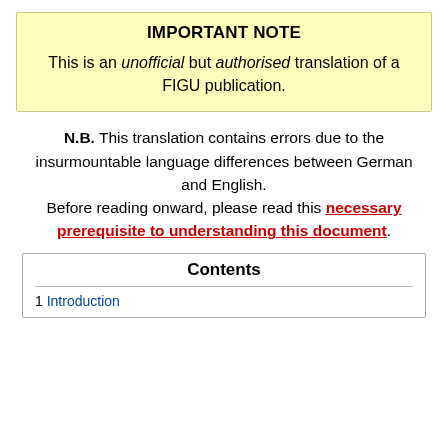IMPORTANT NOTE
This is an unofficial but authorised translation of a FIGU publication.
N.B. This translation contains errors due to the insurmountable language differences between German and English. Before reading onward, please read this necessary prerequisite to understanding this document.
Contents
1 Introduction